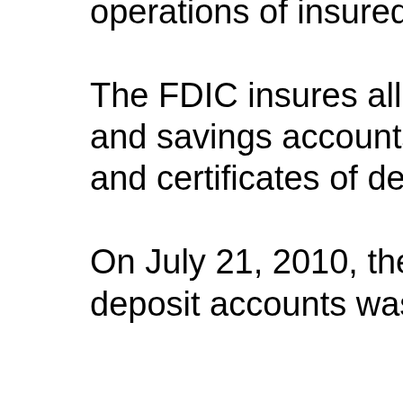operations of insured banks to ensure standards are met. The FDIC insures all deposits, including checking, NOW and savings accounts, money market deposit accounts, and certificates of deposit (CDs), up to the insurance limit. On July 21, 2010, the deposit insurance coverage for all deposit accounts was permanently raised to $250,000 pe...